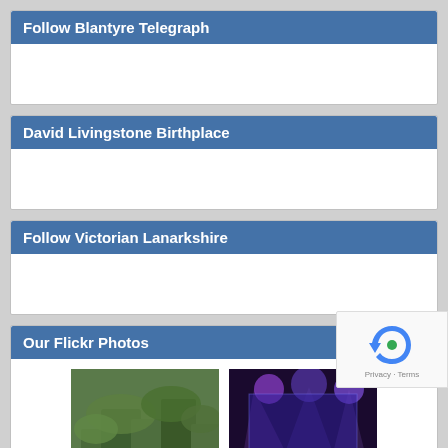Follow Blantyre Telegraph
David Livingstone Birthplace
Follow Victorian Lanarkshire
Our Flickr Photos
[Figure (photo): Two small Flickr photos: one showing overgrown vegetation/trees, another showing a concert crowd with stage lights]
More Photos
Meta